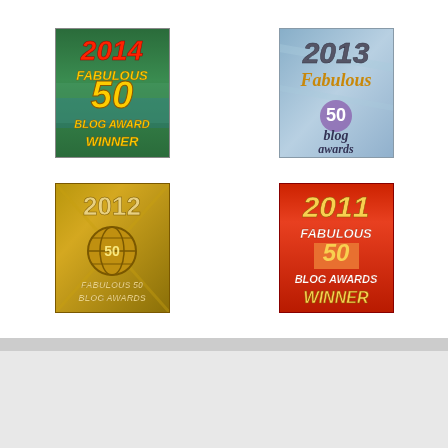[Figure (illustration): 2014 Fabulous 50 Blog Award Winner badge - green background with red and yellow text]
[Figure (illustration): 2013 Fabulous 50 Blog Awards badge - blue/sky background with stylized text]
[Figure (illustration): 2012 Fabulous 50 Blog Awards badge - gold/bronze colored badge with globe icon]
[Figure (illustration): 2011 Fabulous 50 Blog Awards Winner badge - red/orange background with bold text]
| M | T | W | T | F | S | S |
| --- | --- | --- | --- | --- | --- | --- |